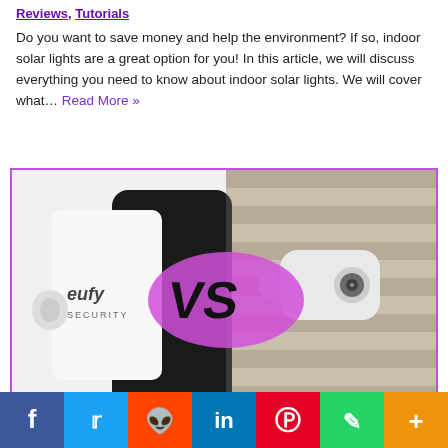Reviews, Tutorials
Do you want to save money and help the environment? If so, indoor solar lights are a great option for you! In this article, we will discuss everything you need to know about indoor solar lights. We will cover what… Read More »
[Figure (photo): Comparison image showing Eufy Security camera on the left versus a white outdoor security camera on the right, with a pink/purple VS graphic in the center]
[Figure (infographic): Social media sharing bar with Facebook, Twitter, Reddit, LinkedIn, Pinterest, WhatsApp, and More buttons]